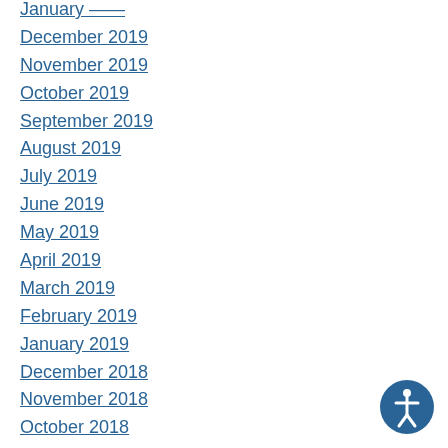January ——
December 2019
November 2019
October 2019
September 2019
August 2019
July 2019
June 2019
May 2019
April 2019
March 2019
February 2019
January 2019
December 2018
November 2018
October 2018
September 2018
August 2018
July 2018
June 2018
[Figure (illustration): Accessibility icon button — circle with a person figure, blue background]